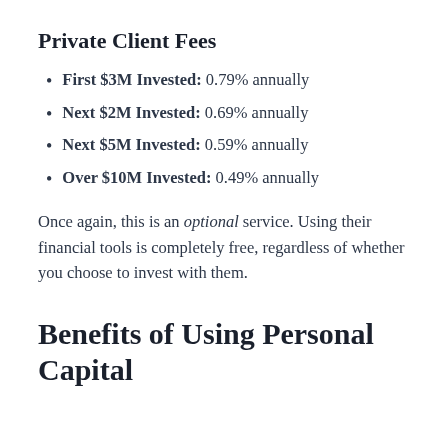Private Client Fees
First $3M Invested: 0.79% annually
Next $2M Invested: 0.69% annually
Next $5M Invested: 0.59% annually
Over $10M Invested: 0.49% annually
Once again, this is an optional service. Using their financial tools is completely free, regardless of whether you choose to invest with them.
Benefits of Using Personal Capital